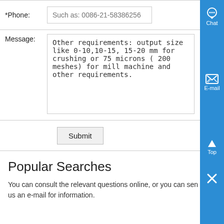| *Phone: | Such as: 0086-21-58386256 |
| Message: | Other requirements: output size like 0-10,10-15, 15-20 mm for crushing or 75 microns ( 200 meshes) for mill machine and other requirements. |
|  | Submit |
Popular Searches
You can consult the relevant questions online, or you can send us an e-mail for information.